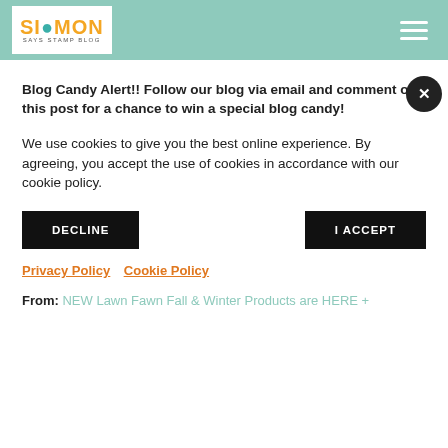Simon Says Stamp Blog
Blog Candy Alert!! Follow our blog via email and comment on this post for a chance to win a special blog candy!
We use cookies to give you the best online experience. By agreeing, you accept the use of cookies in accordance with our cookie policy.
DECLINE | I ACCEPT
Privacy Policy  Cookie Policy
From: NEW Lawn Fawn Fall & Winter Products are HERE +